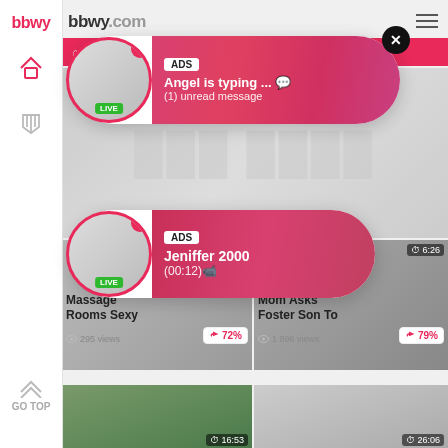bbwy.com
[Figure (screenshot): Adult video website screenshot with sidebar navigation, video thumbnails, and two ad popups overlaid. First ad shows 'ADS / Angel is typing ... / (1) unread message'. Second ad shows 'ADS / Jeniffer 2000 / (00:12)'. Video listings include 'Massage Rooms Sexy' with 72%, 295 views and 'Mom Asks Foster Son To' with 79%, 1 896 views.]